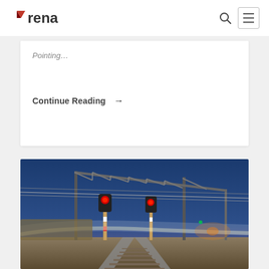rena — navigation header with logo, search icon, and menu button
Pointing…
Continue Reading →
[Figure (photo): Night photograph of a railway track with red signal lights glowing on overhead gantry structures, blue dusk sky, light trails from a passing train, overhead electrical wires.]